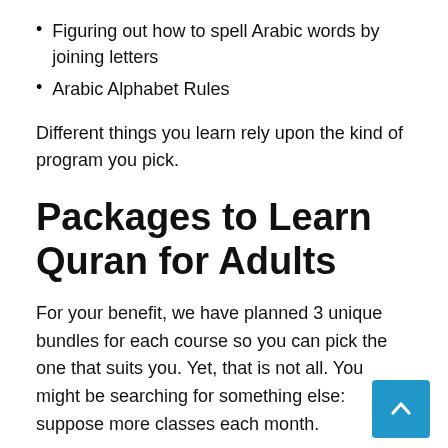Figuring out how to spell Arabic words by joining letters
Arabic Alphabet Rules
Different things you learn rely upon the kind of program you pick.
Packages to Learn Quran for Adults
For your benefit, we have planned 3 unique bundles for each course so you can pick the one that suits you. Yet, that is not all. You might be searching for something else: suppose more classes each month.
We let you redo the bundle custom-made to